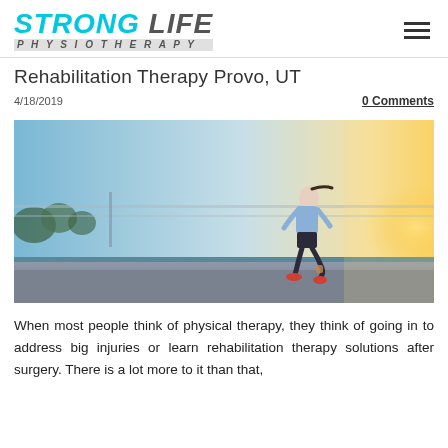STRONG LIFE PHYSIOTHERAPY
Rehabilitation Therapy Provo, UT
4/18/2019
0 Comments
[Figure (photo): Woman running outdoors on a path near a chain-link fence, backlit by warm sunset light, wearing athletic gear including a blue top and dark shorts.]
When most people think of physical therapy, they think of going in to address big injuries or learn rehabilitation therapy solutions after surgery. There is a lot more to it than that,